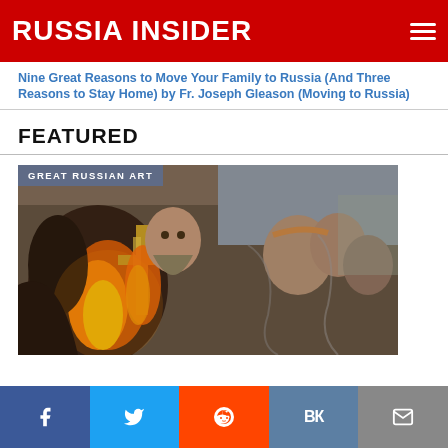RUSSIA INSIDER
Nine Great Reasons to Move Your Family to Russia (And Three Reasons to Stay Home) by Fr. Joseph Gleason (Moving to Russia)
FEATURED
[Figure (photo): Painting of Russian Orthodox religious figures holding a cross with fire, crowd scene, historical Russian art. Tag overlay reads: GREAT RUSSIAN ART]
Social share bar: Facebook, Twitter, Reddit, VK, Email